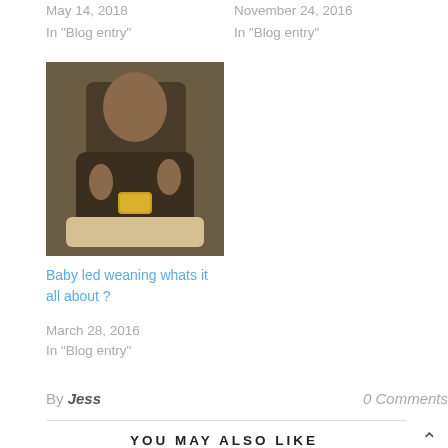May 14, 2018
In "Blog entry"
November 24, 2016
In "Blog entry"
[Figure (photo): Photo of a baby sitting in a high chair holding food]
Baby led weaning whats it all about ?
March 28, 2016
In "Blog entry"
By Jess
0 Comments
YOU MAY ALSO LIKE
[Figure (photo): Street photo of brick buildings]